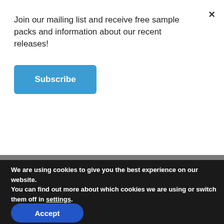×
Join our mailing list and receive free sample packs and information about our recent releases!
Subscribe
CONTACT US
We are using cookies to give you the best experience on our website.
You can find out more about which cookies we are using or switch them off in settings.
Accept